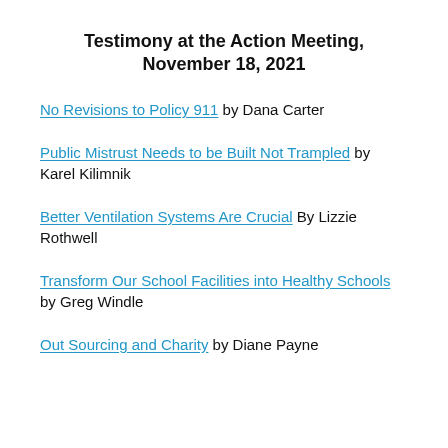Testimony at the Action Meeting, November 18, 2021
No Revisions to Policy 911 by Dana Carter
Public Mistrust Needs to be Built Not Trampled by Karel Kilimnik
Better Ventilation Systems Are Crucial By Lizzie Rothwell
Transform Our School Facilities into Healthy Schools by Greg Windle
Out Sourcing and Charity by Diane Payne